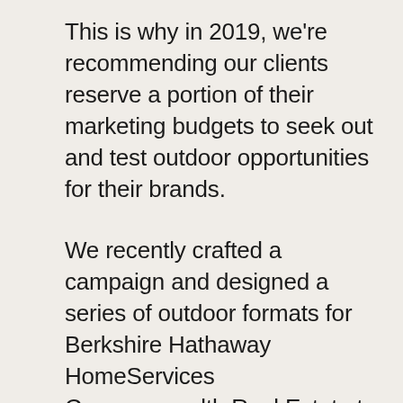This is why in 2019, we're recommending our clients reserve a portion of their marketing budgets to seek out and test outdoor opportunities for their brands.
We recently crafted a campaign and designed a series of outdoor formats for Berkshire Hathaway HomeServices Commonwealth Real Estate to tell their new story and visibly establish their expanding footprint in their market. Plans are in place to roll out this creative throughout the fall and winter in strategic locations around the Greater